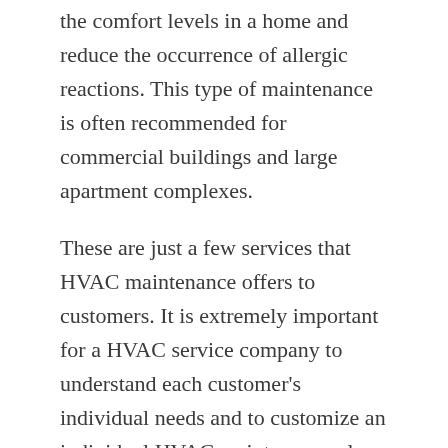the comfort levels in a home and reduce the occurrence of allergic reactions. This type of maintenance is often recommended for commercial buildings and large apartment complexes.
These are just a few services that HVAC maintenance offers to customers. It is extremely important for a HVAC service company to understand each customer's individual needs and to customize an individual HVAC maintenance plan to address each issue. This means contacting the heating and cooling service company in your area and asking them to review your air conditioning equipment maintenance plan and suggest any additional preventive maintenance services that could help to extend the life of your HVAC system and avoid costly problems in the future. A thorough HVAC maintenance plan will also allow your heating and